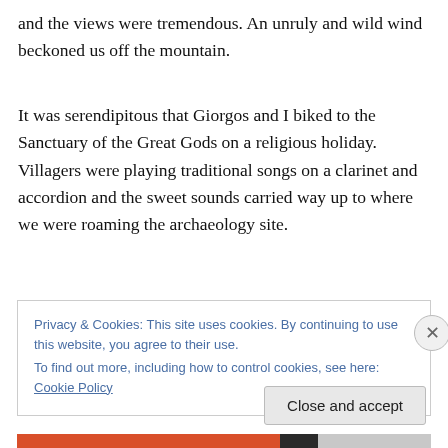and the views were tremendous. An unruly and wild wind beckoned us off the mountain.
It was serendipitous that Giorgos and I biked to the Sanctuary of the Great Gods on a religious holiday. Villagers were playing traditional songs on a clarinet and accordion and the sweet sounds carried way up to where we were roaming the archaeology site.
Privacy & Cookies: This site uses cookies. By continuing to use this website, you agree to their use.
To find out more, including how to control cookies, see here: Cookie Policy